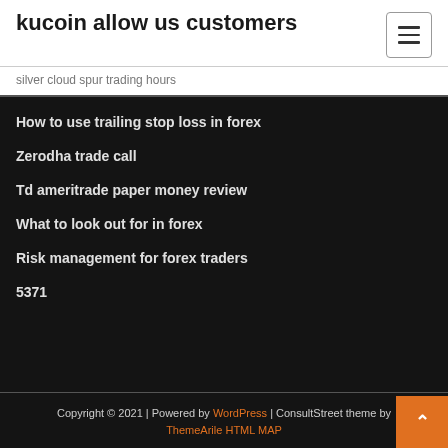kucoin allow us customers
silver cloud spur trading hours
How to use trailing stop loss in forex
Zerodha trade call
Td ameritrade paper money review
What to look out for in forex
Risk management for forex traders
5371
Copyright © 2021 | Powered by WordPress | ConsultStreet theme by ThemeArile HTML MAP